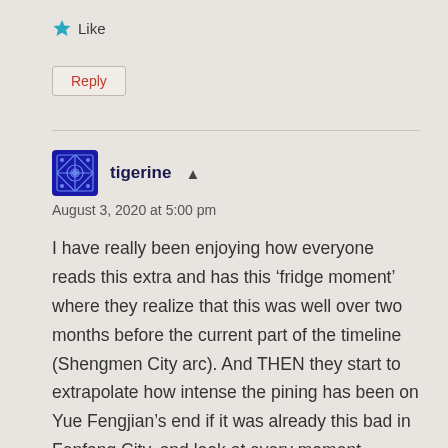★ Like
Reply
tigerine ▲
August 3, 2020 at 5:00 pm
I have really been enjoying how everyone reads this extra and has this 'fridge moment' where they realize that this was well over two months before the current part of the timeline (Shengmen City arc). And THEN they start to extrapolate how intense the pining has been on Yue Fengjian's end if it was already this bad in Fenfang City, and look at every moment between them SINCE Fenfang City in a new